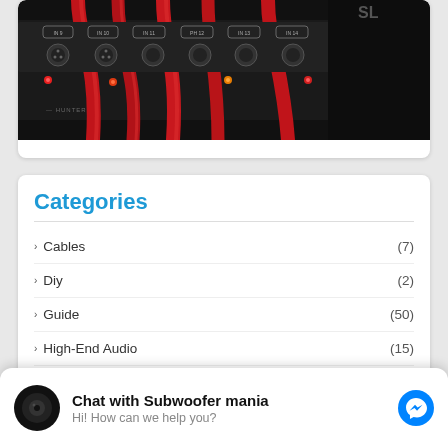[Figure (photo): Close-up photo of audio equipment patch bay with red XLR cables plugged in, red LED indicator lights visible on dark panel with labeled input ports]
Categories
Cables (7)
Diy (2)
Guide (50)
High-End Audio (15)
Chat with Subwoofer mania
Hi! How can we help you?